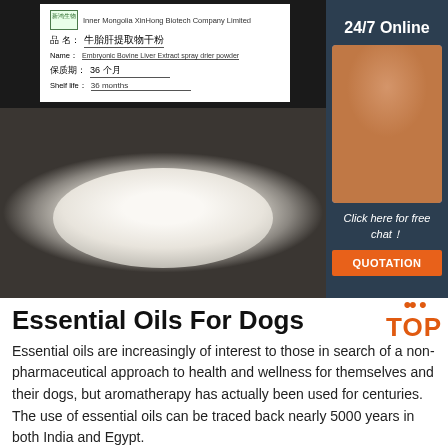[Figure (photo): Product photo showing a container of white powder (Embryonic Bovine Liver Extract spray drier powder) from Inner Mongolia XinHong Biotech Company Limited, with a label in Chinese and English. The powder is displayed in a round dish on a dark background. Overlaid on the right is a 24/7 online chat widget with a photo of a woman wearing a headset, 'Click here for free chat!' text, and a QUOTATION button.]
Essential Oils For Dogs
Essential oils are increasingly of interest to those in search of a non-pharmaceutical approach to health and wellness for themselves and their dogs, but aromatherapy has actually been used for centuries. The use of essential oils can be traced back nearly 5000 years in both India and Egypt.